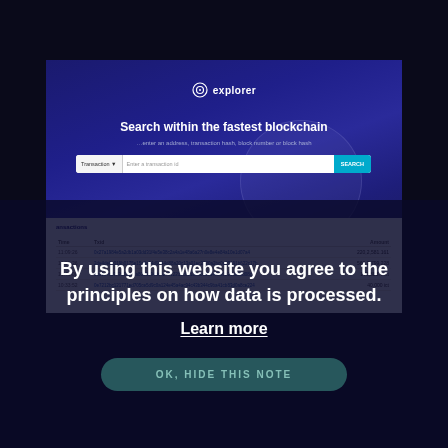[Figure (screenshot): Blockchain explorer website screenshot with dark blue hero section showing logo 'explorer', search bar with 'Transaction' type, headline 'Search within the fastest blockchain', and a transactions table below]
By using this website you agree to the principles on how data is processed.
Learn more
OK, HIDE THIS NOTE
| Time | Txid | Amount |
| --- | --- | --- |
| 11:09:26 | 0x27a1984e5a2db1a03dd31f4e5e38c2a4a1e48a6a27n0e8e4e84a10e1d07a4 | 220,2,581.161 |
| 11:09:26 | 2de4de0c019b0175e15c8e94d9b44d88a20c13a01ec2220a2bc0c20191b622c17b | 560,2,799.228 |
| 11:41:08 | 1c01c7c1972c0b681a80d6094dc42e01221ec0218ed0c02d4e2a0b20ca20d08c9 | 170,888.4 ict |
| 10:33:52 | 0e7212bc121771ed705ce5d9c0a124e45a4ac94c43b344c9ba41cb83d0a8ce224 | 40,000 ict |